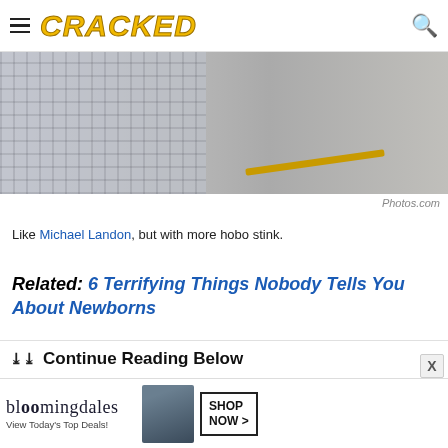CRACKED
[Figure (photo): Cropped photo showing a plaid shirt sleeve and a road with a yellow center line, blurred background. Road surface visible.]
Photos.com
Like Michael Landon, but with more hobo stink.
Related: 6 Terrifying Things Nobody Tells You About Newborns
Continue Reading Below
[Figure (photo): Bloomingdale's advertisement: View Today's Top Deals! with a woman in a wide-brim hat and SHOP NOW button.]